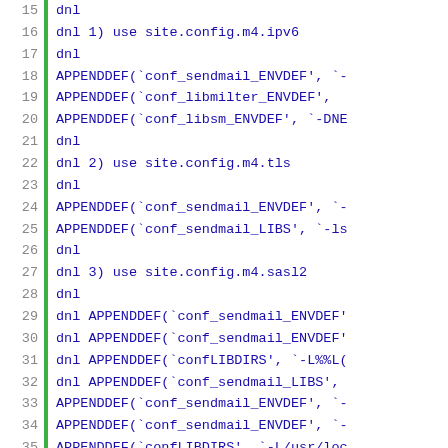Code listing lines 15-41, showing sendmail configuration macros with APPENDDEF calls for conf_sendmail_ENVDEF, conf_libmilter_ENVDEF, conf_libsm_ENVDEF, conf_sendmail_LIBS, confLIBDIRS and related dnl comments.